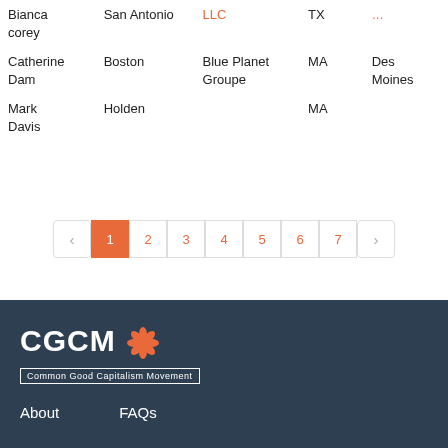| Name | City | Company | State | Other |
| --- | --- | --- | --- | --- |
| Bianca corey | San Antonio | LLC | TX | ... |
| Catherine Dam | Boston | Blue Planet Groupe | MA | Des Moines |
| Mark Davis | Holden |  | MA |  |
Pagination: ‹ 1 2 3 4 5 6 7 ›
[Figure (logo): CGCM logo with orange snowflake icon and tagline 'Common Good Capitalism Movement' on dark navy background, with footer links About and FAQs]